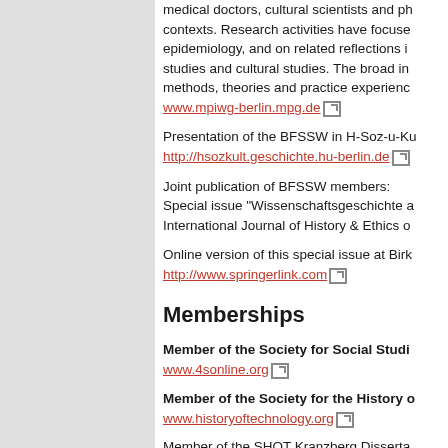medical doctors, cultural scientists and ph... contexts. Research activities have focused... epidemiology, and on related reflections in... studies and cultural studies. The broad int... methods, theories and practice experience...
www.mpiwg-berlin.mpg.de
Presentation of the BFSSW in H-Soz-u-Ku... http://hsozkult.geschichte.hu-berlin.de
Joint publication of BFSSW members: Special issue "Wissenschaftsgeschichte a... International Journal of History & Ethics o...
Online version of this special issue at Birk... http://www.springerlink.com
Memberships
Member of the Society for Social Studi... www.4sonline.org
Member of the Society for the History o... www.historyoftechnology.org
Member of the SHOT Kranzberg Disserta...
Member of the SHOT Executive Council (...
Member of the SHOT Travel Grant Comm...